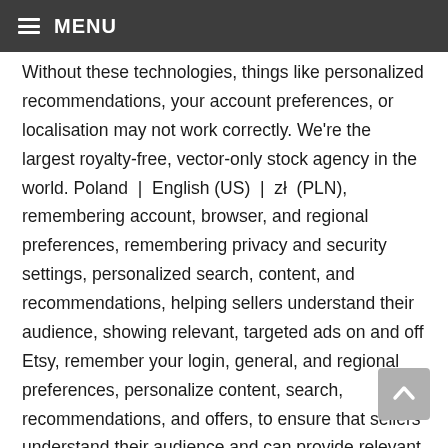≡ MENU
Without these technologies, things like personalized recommendations, your account preferences, or localisation may not work correctly. We're the largest royalty-free, vector-only stock agency in the world. Poland | English (US) | zł (PLN), remembering account, browser, and regional preferences, remembering privacy and security settings, personalized search, content, and recommendations, helping sellers understand their audience, showing relevant, targeted ads on and off Etsy, remember your login, general, and regional preferences, personalize content, search, recommendations, and offers, to ensure that sellers understand their audience and can provide relevant ads. Printables. your own Pins on Pinterest Collect. All Rights Reserved. From shop EuphoriaXArt. Lastly, take the lion head you previously colored and apply a generous amount of glue on the back of it. This outline 14k yellow gold pendant features a cut-out of a Lion's